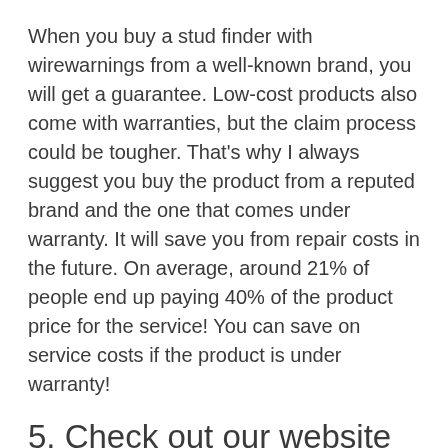When you buy a stud finder with wirewarnings from a well-known brand, you will get a guarantee. Low-cost products also come with warranties, but the claim process could be tougher. That's why I always suggest you buy the product from a reputed brand and the one that comes under warranty. It will save you from repair costs in the future. On average, around 21% of people end up paying 40% of the product price for the service! You can save on service costs if the product is under warranty!
5. Check out our website
On our website we have experts in all categories and no matter what the product